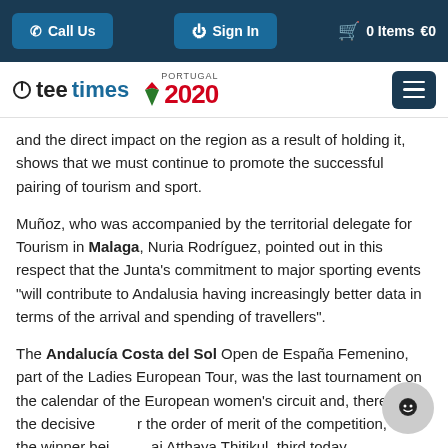Call Us | Sign In | 0 Items €0
[Figure (logo): Teetimes logo and Portugal 2020 logo with hamburger menu button]
and the direct impact on the region as a result of holding it, shows that we must continue to promote the successful pairing of tourism and sport.
Muñoz, who was accompanied by the territorial delegate for Tourism in Malaga, Nuria Rodríguez, pointed out in this respect that the Junta's commitment to major sporting events "will contribute to Andalusia having increasingly better data in terms of the arrival and spending of travellers".
The Andalucía Costa del Sol Open de España Femenino, part of the Ladies European Tour, was the last tournament on the calendar of the European women's circuit and, therefore, the decisive for the order of merit of the competition, with the winner bei Atthaya Thitikul, third today.